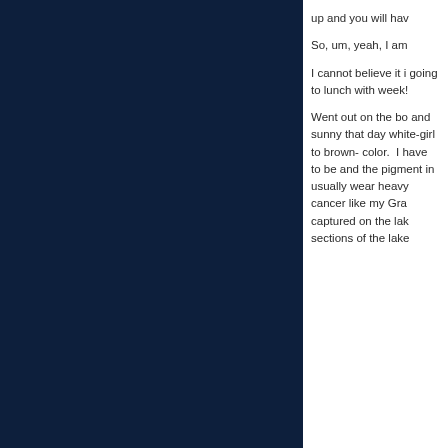up and you will hav
So, um, yeah, I am
I cannot believe it i going to lunch with week!
Went out on the bo and sunny that day white-girl to brown- color.  I have to be and the pigment in usually wear heavy cancer like my Gra captured on the lak sections of the lake